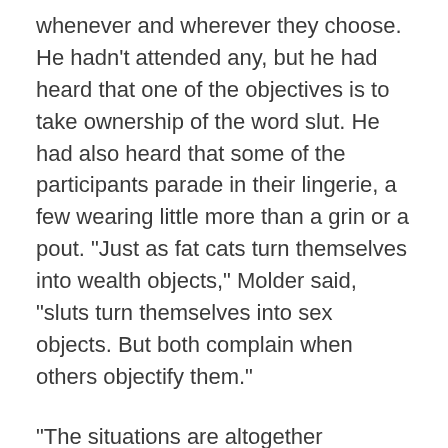whenever and wherever they choose. He hadn't attended any, but he had heard that one of the objectives is to take ownership of the word slut. He had also heard that some of the participants parade in their lingerie, a few wearing little more than a grin or a pout. “Just as fat cats turn themselves into wealth objects,” Molder said, “sluts turn themselves into sex objects. But both complain when others objectify them.”
“The situations are altogether different,” Bimsom said.
“Of course they are,” said Molder. “Fat cats risk provoking the envious to rob, while sluts risk provoking the lustful to rape.”